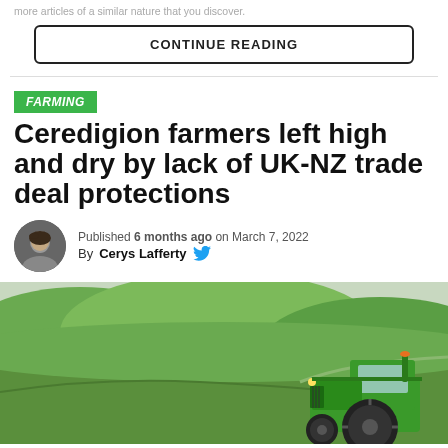more articles of a similar nature that you discover.
CONTINUE READING
FARMING
Ceredigion farmers left high and dry by lack of UK-NZ trade deal protections
Published 6 months ago on March 7, 2022
By Cerys Lafferty
[Figure (photo): A green tractor in a field with rolling green hills in the background]